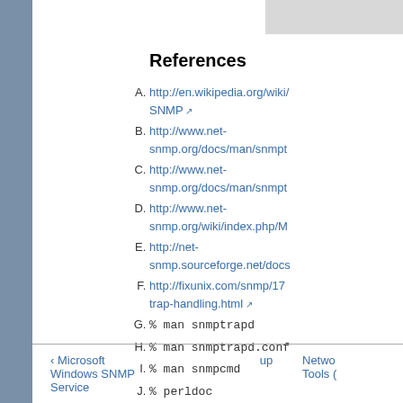References
A. http://en.wikipedia.org/wiki/SNMP
B. http://www.net-snmp.org/docs/man/snmpt
C. http://www.net-snmp.org/docs/man/snmpt
D. http://www.net-snmp.org/wiki/index.php/M
E. http://net-snmp.sourceforge.net/docs
F. http://fixunix.com/snmp/17 trap-handling.html
G. % man snmptrapd
H. % man snmptrapd.conf
I. % man snmpcmd
J. % perldoc NetSNMP::TrapReceiver
◄ Microsoft Windows SNMP Service    up    Network Tools (